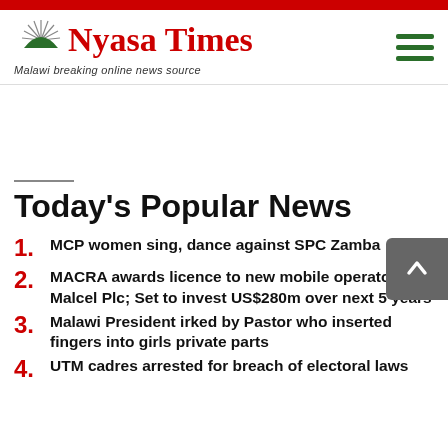Nyasa Times — Malawi breaking online news source
Today's Popular News
1. MCP women sing, dance against SPC Zamba
2. MACRA awards licence to new mobile operator Malcel Plc; Set to invest US$280m over next 5 years
3. Malawi President irked by Pastor who inserted fingers into girls private parts
4. UTM cadres arrested for breach of electoral laws